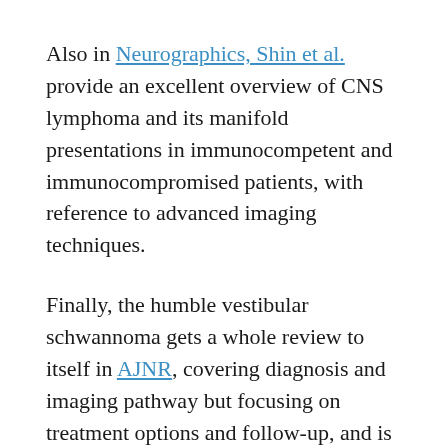Also in Neurographics, Shin et al. provide an excellent overview of CNS lymphoma and its manifold presentations in immunocompetent and immunocompromised patients, with reference to advanced imaging techniques.
Finally, the humble vestibular schwannoma gets a whole review to itself in AJNR, covering diagnosis and imaging pathway but focusing on treatment options and follow-up, and is neatly accompanied by an article in JNS by Wu et al. specifically addressing post-Gamma Knife imaging appearances and predictors of treatment outcome.